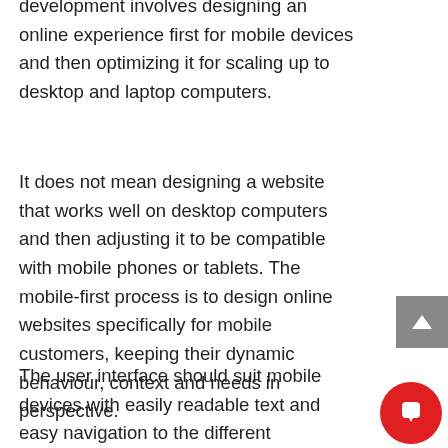development involves designing an online experience first for mobile devices and then optimizing it for scaling up to desktop and laptop computers.
It does not mean designing a website that works well on desktop computers and then adjusting it to be compatible with mobile phones or tablets. The mobile-first process is to design online websites specifically for mobile customers, keeping their dynamic behaviour, context and needs in perspective.
The user interface should suit mobile devices with easily readable text and easy navigation to the different